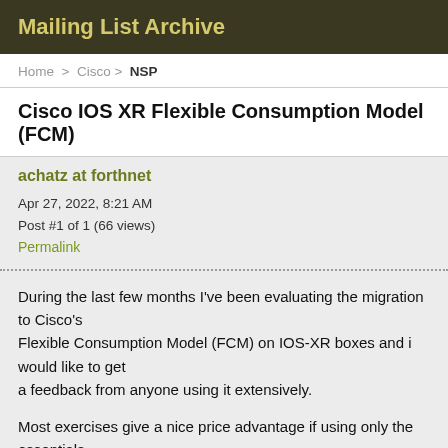Mailing List Archive
Home > Cisco > NSP
Cisco IOS XR Flexible Consumption Model (FCM)
achatz at forthnet
Apr 27, 2022, 8:21 AM
Post #1 of 1 (66 views)
Permalink
During the last few months I've been evaluating the migration to Cisco's
Flexible Consumption Model (FCM) on IOS-XR boxes and i would like to get
a feedback from anyone using it extensively.
Most exercises give a nice price advantage if using only the essentials
license and FC HW, but i've noticed that the logic behind the identification of consuming advanced/advantage licenses is quite